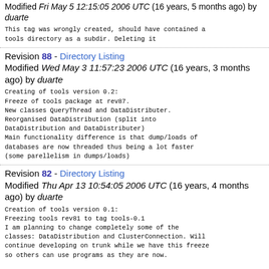Modified Fri May 5 12:15:05 2006 UTC (16 years, 5 months ago) by duarte
This tag was wrongly created, should have contained a tools directory as a subdir. Deleting it
Revision 88 - Directory Listing
Modified Wed May 3 11:57:23 2006 UTC (16 years, 3 months ago) by duarte
Creating of tools version 0.2:
Freeze of tools package at rev87.
New classes QueryThread and DataDistributer.
Reorganised DataDistribution (split into DataDistribution and DataDistributer)
Main functionality difference is that dump/loads of databases are now threaded thus being a lot faster (some parellelism in dumps/loads)
Revision 82 - Directory Listing
Modified Thu Apr 13 10:54:05 2006 UTC (16 years, 4 months ago) by duarte
Creation of tools version 0.1:
Freezing tools rev81 to tag tools-0.1
I am planning to change completely some of the classes: DataDistribution and ClusterConnection. Will continue developing on trunk while we have this freeze so others can use programs as they are now.